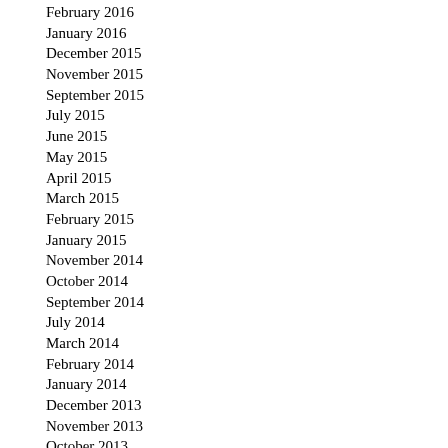February 2016
January 2016
December 2015
November 2015
September 2015
July 2015
June 2015
May 2015
April 2015
March 2015
February 2015
January 2015
November 2014
October 2014
September 2014
July 2014
March 2014
February 2014
January 2014
December 2013
November 2013
October 2013
September 2013
August 2013
July 2013
June 2013